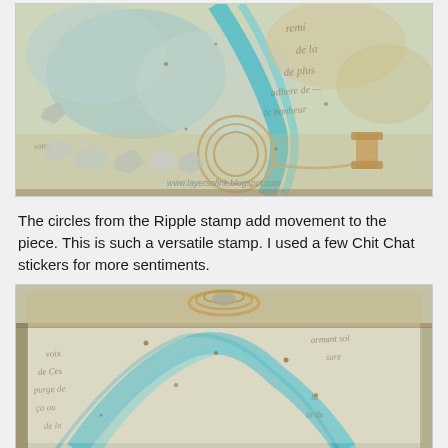[Figure (photo): Top-down view of a mixed-media art project in a box/tray. Features watercolor in teal/aqua and beige tones, vintage French script, twine circles, metallic/silver chunky elements, a wooden spool, and the watermark www.layersofink.blogspot.com]
The circles from the Ripple stamp add movement to the piece. This is such a versatile stamp. I used a few Chit Chat stickers for more sentiments.
[Figure (photo): Side view of a decorated box/tray with twine coil on top, showing front face with teal/aqua Ripple stamp circles, vintage French script text, and aged/distressed edges on a pale background.]